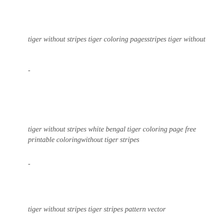tiger without stripes tiger coloring pagesstripes tiger without
-
tiger without stripes white bengal tiger coloring page free printable coloringwithout tiger stripes
-
tiger without stripes tiger stripes pattern vector